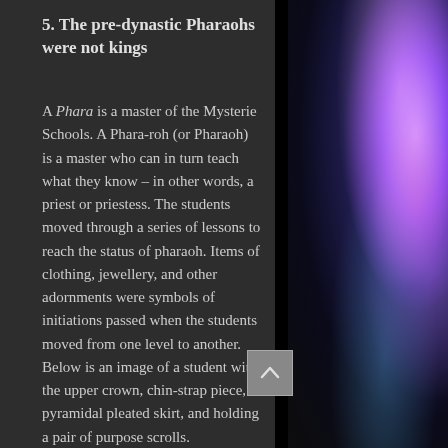5. The pre-dynastic Pharaohs were not kings
A Phara is a master of the Mysterie Schools. A Phara-roh (or Pharaoh) is a master who can in turn teach what they know – in other words, a priest or priestess. The students moved through a series of lessons to reach the status of pharaoh. Items of clothing, jewellery, and other adornments were symbols of initiations passed when the students moved from one level to another. Below is an image of a student with the upper crown, chin-strap piece, pyramidal pleated skirt, and holding a pair of purpose scrolls.
The upper crown embodies the spiritual life; the chin piece was representative of
[Figure (illustration): Back to top button (chevron up arrow) overlapping the text area]